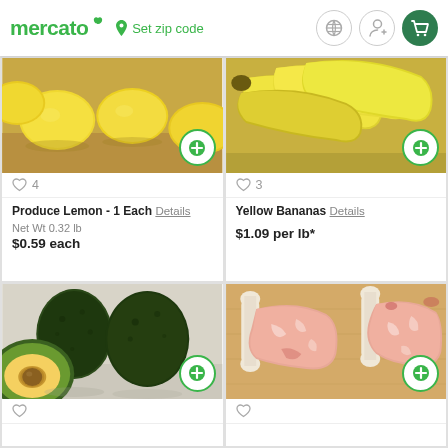mercato  Set zip code
[Figure (photo): Lemons on a wooden surface]
♡ 4
Produce Lemon - 1 Each Details
Net Wt 0.32 lb
$0.59 each
[Figure (photo): Yellow bananas on a wooden surface]
♡ 3
Yellow Bananas Details
$1.09 per lb*
[Figure (photo): Avocados, one cut in half, on a light surface]
[Figure (photo): Two pork chops on a wooden cutting board]